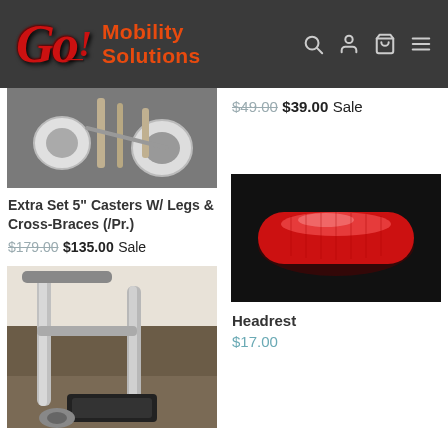Go! Mobility Solutions
[Figure (photo): Partial view of wheelchair casters/wheels with legs and cross-braces from above]
$49.00 $39.00 Sale
Extra Set 5" Casters W/ Legs & Cross-Braces (/Pr.)
$179.00 $135.00 Sale
[Figure (photo): Wheelchair footrest/leg rest attached to chair frame, viewed from side]
[Figure (photo): Red padded headrest cushion on black background]
Headrest
$17.00